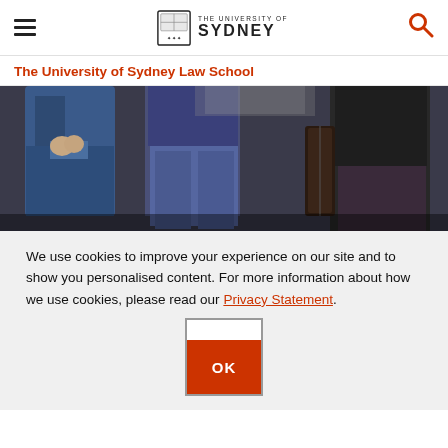THE UNIVERSITY OF SYDNEY
The University of Sydney Law School
[Figure (photo): Group of people standing, lower half visible, wearing business and casual attire in a formal indoor setting]
We use cookies to improve your experience on our site and to show you personalised content. For more information about how we use cookies, please read our Privacy Statement.